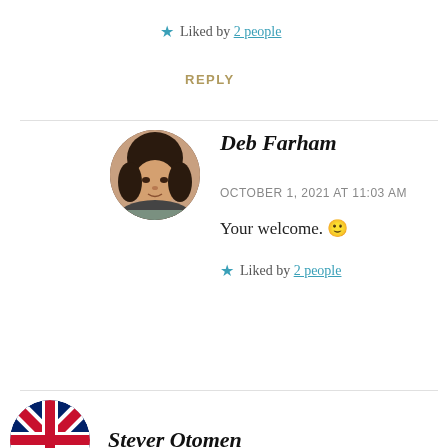★ Liked by 2 people
REPLY
Deb Farham
OCTOBER 1, 2021 AT 11:03 AM
Your welcome. 🙂
★ Liked by 2 people
Stever Otomen